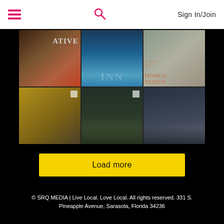☰  🔍  Sign In/Join
[Figure (photo): 6-image grid collage: top row shows a creative/native workspace, a blue pool/modern interior, and a woman in a grey skirt; bottom row shows a man working with stone slabs, a modern house at dusk with trees, and a Home & Design magazine cover]
Load more
© SRQ MEDIA | Live Local. Love Local. All rights reserved. 331 S. Pineapple Avenue, Sarasota, Florida 34236